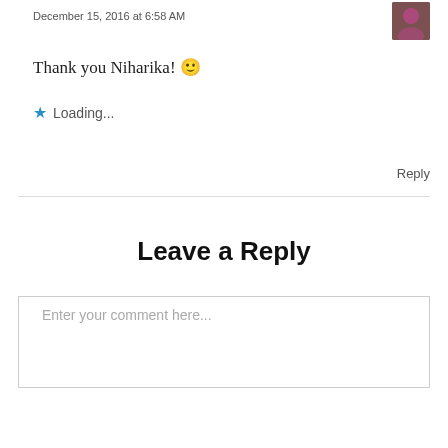December 15, 2016 at 6:58 AM
[Figure (photo): Small circular/square avatar photo of a person in top right corner]
Thank you Niharika! 🙂
★ Loading...
Reply
Leave a Reply
Enter your comment here...